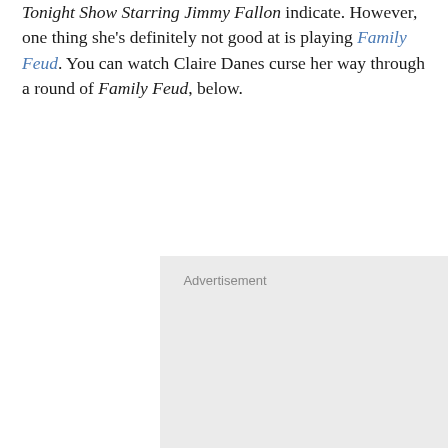Tonight Show Starring Jimmy Fallon indicate. However, one thing she's definitely not good at is playing Family Feud. You can watch Claire Danes curse her way through a round of Family Feud, below.
[Figure (other): Advertisement placeholder box with grey background and 'Advertisement' label centered at the top.]